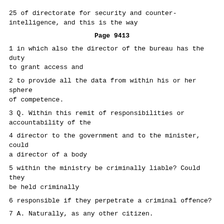25 of directorate for security and counter-intelligence, and this is the way
Page 9413
1 in which also the director of the bureau has the duty to grant access and
2 to provide all the data from within his or her sphere of competence.
3 Q. Within this remit of responsibilities or accountability of the
4 director to the government and to the minister, could a director of a body
5 within the ministry be criminally liable? Could they be held criminally
6 responsible if they perpetrate a criminal offence?
7 A. Naturally, as any other citizen.
8 Q. And could a director of a body within a ministry be held
9 disciplinary responsible?
10 A. No disciplinary responsibility could be requested.